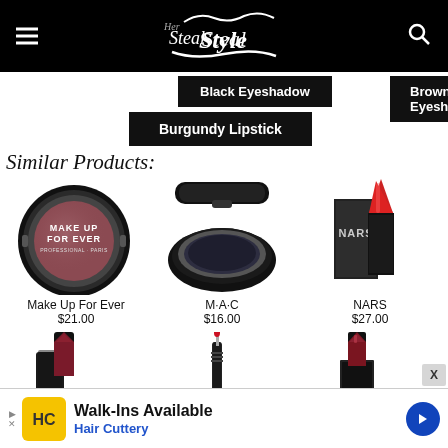Steal Her Style
Black Eyeshadow
Brown Eyeshadow
Burgundy Lipstick
Similar Products:
[Figure (photo): Make Up For Ever eyeshadow compact in burgundy/mauve color, circular black case]
Make Up For Ever
$21.00
[Figure (photo): MAC eyeshadow compact in dark navy/black color, circular black case]
M·A·C
$16.00
[Figure (photo): NARS lipstick in red, black packaging with NARS logo on side]
NARS
$27.00
[Figure (photo): Dark red/burgundy lipstick with black decorative case, partially visible at bottom]
[Figure (photo): Liquid lipstick applicator with red color, partially visible at bottom]
[Figure (photo): Dark red lipstick with black rectangular case, partially visible at bottom]
Walk-Ins Available
Hair Cuttery